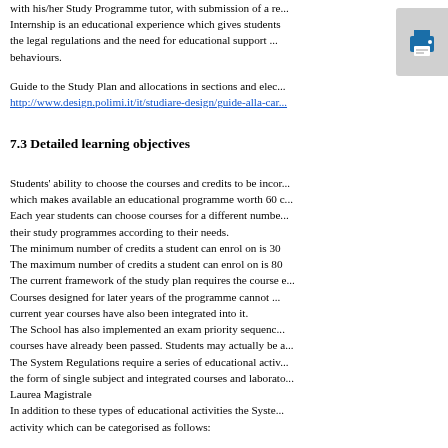with his/her Study Programme tutor, with submission of a re... Internship is an educational experience which gives students the legal regulations and the need for educational support ... behaviours.
Guide to the Study Plan and allocations in sections and elec... http://www.design.polimi.it/it/studiare-design/guide-alla-car...
7.3 Detailed learning objectives
Students' ability to choose the courses and credits to be incor... which makes available an educational programme worth 60 c... Each year students can choose courses for a different numbe... their study programmes according to their needs.
The minimum number of credits a student can enrol on is 30
The maximum number of credits a student can enrol on is 80
The current framework of the study plan requires the course e...
Courses designed for later years of the programme cannot... current year courses have also been integrated into it.
The School has also implemented an exam priority sequenc... courses have already been passed. Students may actually be a...
The System Regulations require a series of educational activ... the form of single subject and integrated courses and laborato... Laurea Magistrale
In addition to these types of educational activities the Syste... activity which can be categorised as follows: